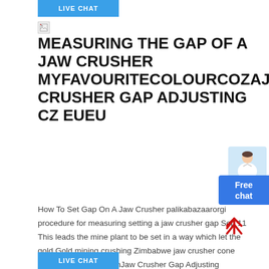LIVE CHAT
[Figure (illustration): Broken image placeholder icon]
MEASURING THE GAP OF A JAW CRUSHER MYFAVOURITECOLOURCOZAJAW CRUSHER GAP ADJUSTING CZ EUEU
[Figure (illustration): Person in white coat chat widget with 'Free chat' label]
How To Set Gap On A Jaw Crusher palikabazaarorgi procedure for measuring setting a jaw crusher gap Sep 11 This leads the mine plant to be set in a way which let the gold Gold mining crushing Zimbabwe jaw crusher cone crusher 10 IntroductionJaw Crusher Gap Adjusting Adjusting Gap On Jaw Crusher cdsspgc JAW CRUSHER Jaw crushers are used for primary crushing of a wide variety of Double toggle jaw crusher type size /10 08 with hydraulical gap adjustment
[Figure (illustration): Red upward arrow icon]
LIVE CHAT